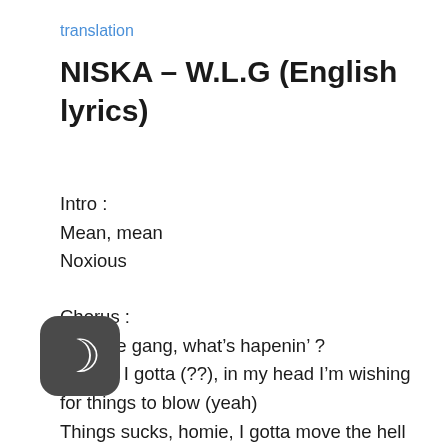translation
NISKA – W.L.G (English lyrics)
Intro :
Mean, mean
Noxious
Chorus :
Wesh le gang, what's hapenin' ?
Homie, I gotta (??), in my head I'm wishing for things to blow (yeah)
Things sucks, homie, I gotta move the hell out from here
[...]ght I'll smoke me some of that good shit, I [...]t my head to blow (yeah)